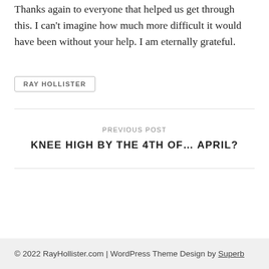Thanks again to everyone that helped us get through this. I can't imagine how much more difficult it would have been without your help. I am eternally grateful.
RAY HOLLISTER
PREVIOUS POST
KNEE HIGH BY THE 4TH OF… APRIL?
© 2022 RayHollister.com | WordPress Theme Design by Superb